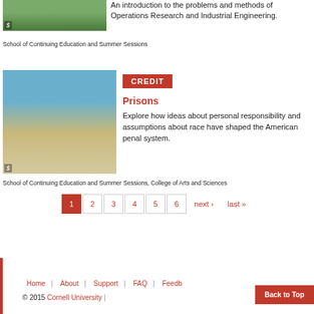[Figure (photo): Campus walkway with green trees and students]
An introduction to the problems and methods of Operations Research and Industrial Engineering.
School of Continuing Education and Summer Sessions
[Figure (photo): Prison facility exterior with guard tower and fencing]
CREDIT
Prisons
Explore how ideas about personal responsibility and assumptions about race have shaped the American penal system.
School of Continuing Education and Summer Sessions, College of Arts and Sciences
1 2 3 4 5 6 next › last »
Home | About | Support | FAQ | Feedback | Back to Top
© 2015 Cornell University |